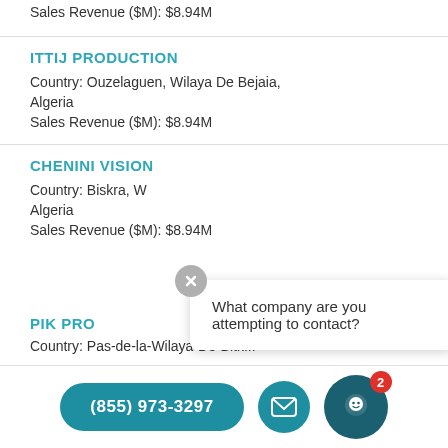Sales Revenue ($M): $8.94M
ITTIJ PRODUCTION
Country: Ouzelaguen, Wilaya De Bejaia, Algeria
Sales Revenue ($M): $8.94M
CHENINI VISION
Country: Biskra, W... Algeria
Sales Revenue ($M): $8.94M
What company are you attempting to contact?
PIK PRO
Country: ...